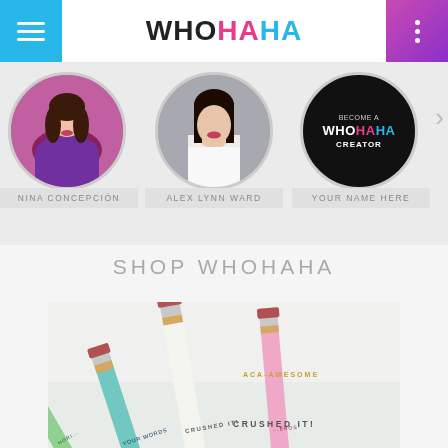WHOHAHA
[Figure (photo): Circular profile photo of Nina Concepción wearing a purple lace top]
NINA CONCEPCIÓN
[Figure (photo): Circular profile photo of Alex Lynn Ward with dark hair]
ALEX LYNN WARD
[Figure (illustration): Black circle with text: BECOME A WHOHAHA CREATOR]
YOUR NAME HERE
SHOP WHOHAHA
[Figure (photo): Photo of colorful pencils (mint green, teal, white, pink) with gold text reading ACA-AWESOME, CRUSHED IT!, and other motivational phrases]